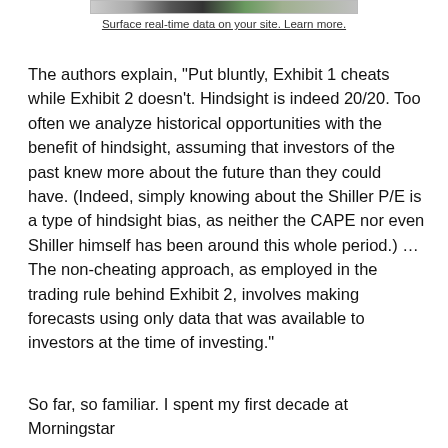[Figure (photo): Partial image strip at top of page showing mixed content/photo thumbnail]
Surface real-time data on your site. Learn more.
The authors explain, "Put bluntly, Exhibit 1 cheats while Exhibit 2 doesn't. Hindsight is indeed 20/20. Too often we analyze historical opportunities with the benefit of hindsight, assuming that investors of the past knew more about the future than they could have. (Indeed, simply knowing about the Shiller P/E is a type of hindsight bias, as neither the CAPE nor even Shiller himself has been around this whole period.) … The non-cheating approach, as employed in the trading rule behind Exhibit 2, involves making forecasts using only data that was available to investors at the time of investing."
So far, so familiar. I spent my first decade at Morningstar